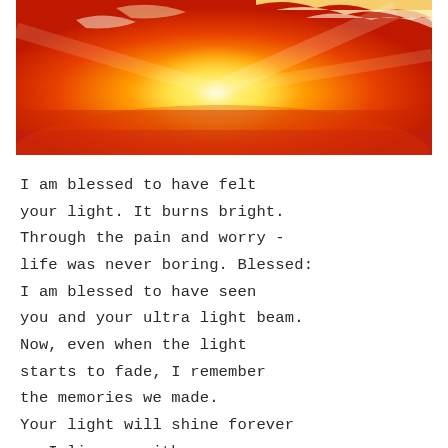[Figure (photo): A vivid photograph of a sunset sky with deep orange and red hues, bright yellow-white light rays bursting through clouds, creating a dramatic warm glow.]
I am blessed to have felt your light. It burns bright. Through the pain and worry - life was never boring. Blessed: I am blessed to have seen you and your ultra light beam. Now, even when the light starts to fade, I remember the memories we made. Your light will shine forever as I live on with you gone. Blessed: I am blessed to know